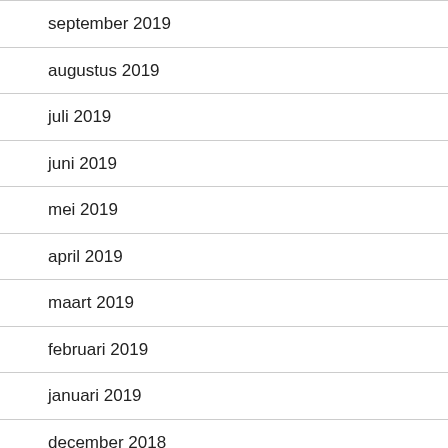september 2019
augustus 2019
juli 2019
juni 2019
mei 2019
april 2019
maart 2019
februari 2019
januari 2019
december 2018